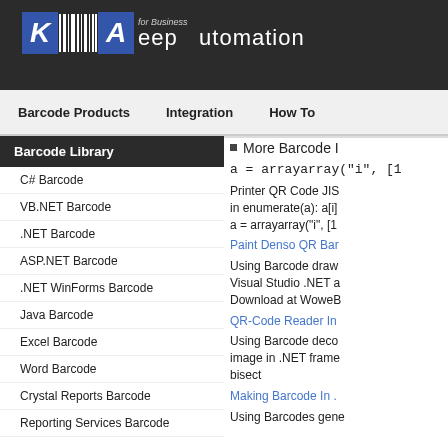Keep Automation for Business
Barcode Products | Integration | How To
Barcode Library
C# Barcode
VB.NET Barcode
.NET Barcode
ASP.NET Barcode
.NET WinForms Barcode
Java Barcode
Excel Barcode
Word Barcode
Crystal Reports Barcode
Reporting Services Barcode
More Barcode I
a = arrayarray("i", [1
Printer QR Code JIS in enumerate(a): a[i] a = arrayarray("i", [1
Paint Denso QR Bar
Using Barcode draw Visual Studio .NET a Download at WoweB
QR-Code Reader In
Using Barcode deco image in .NET frame bisect
Making Barcode In .
Using Barcodes gene